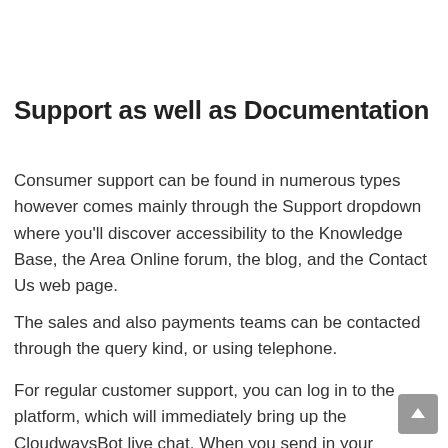Support as well as Documentation
Consumer support can be found in numerous types however comes mainly through the Support dropdown where you'll discover accessibility to the Knowledge Base, the Area Online forum, the blog, and the Contact Us web page.
The sales and also payments teams can be contacted through the query kind, or using telephone.
For regular customer support, you can log in to the platform, which will immediately bring up the CloudwaysBot live chat. When you send in your inquiry a variety of short articles w obtain displayed to try to address your question quickly, or